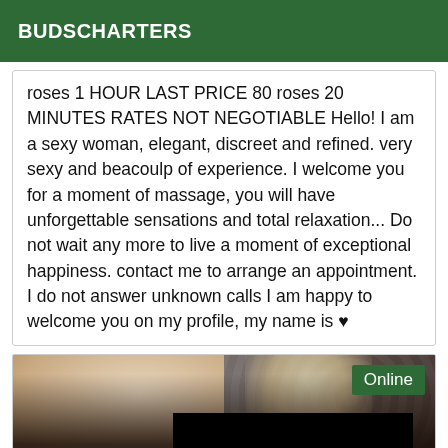BUDSCHARTERS
roses 1 HOUR LAST PRICE 80 roses 20 MINUTES RATES NOT NEGOTIABLE Hello! I am a sexy woman, elegant, discreet and refined. very sexy and beacoulp of experience. I welcome you for a moment of massage, you will have unforgettable sensations and total relaxation... Do not wait any more to live a moment of exceptional happiness. contact me to arrange an appointment. I do not answer unknown calls I am happy to welcome you on my profile, my name is ♥
[Figure (photo): Photo of a woman with a black bar censoring her eyes, with an 'Online' badge in the top right corner on a green background]